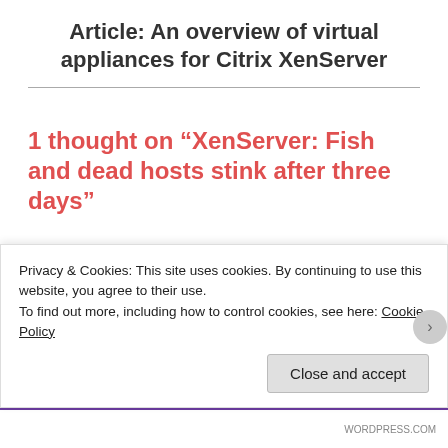Article: An overview of virtual appliances for Citrix XenServer
1 thought on “XenServer: Fish and dead hosts stink after three days”
Victoria I
Privacy & Cookies: This site uses cookies. By continuing to use this website, you agree to their use.
To find out more, including how to control cookies, see here: Cookie Policy